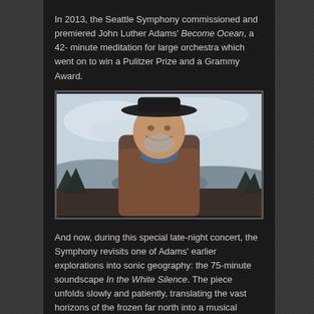In 2013, the Seattle Symphony commissioned and premiered John Luther Adams' Become Ocean, a 42-minute meditation for large orchestra which went on to win a Pulitzer Prize and a Grammy Award.
[Figure (photo): A smiling middle-aged man with a grey beard wearing a dark cowboy hat and a brown leather jacket with a blue scarf, photographed outdoors against a cloudy sky and hilly landscape.]
And now, during this special late-night concert, the Symphony revisits one of Adams' earlier explorations into sonic geography: the 75-minute soundscape In the White Silence. The piece unfolds slowly and patiently, translating the vast horizons of the frozen far north into a musical landscape of clean, radiant harmony and subtle transformation.